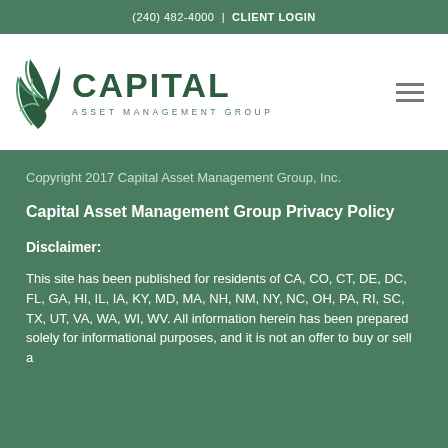(240) 482-4000 | CLIENT LOGIN
[Figure (logo): Capital Asset Management Group logo with green leaf swoosh graphic and text 'CAPITAL ASSET MANAGEMENT GROUP']
Copyright 2017 Capital Asset Management Group, Inc.
Capital Asset Management Group Privacy Policy
Disclaimer:
This site has been published for residents of CA, CO, CT, DE, DC, FL, GA, HI, IL, IA, KY, MD, MA, NH, NM, NY, NC, OH, PA, RI, SC, TX, UT, VA, WA, WI, WV. All information herein has been prepared solely for informational purposes, and it is not an offer to buy or sell a